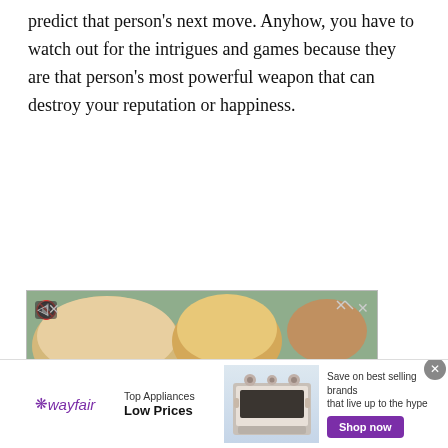predict that person's next move. Anyhow, you have to watch out for the intrigues and games because they are that person's most powerful weapon that can destroy your reputation or happiness.
[Figure (screenshot): Video advertisement for Pollo Campero showing fried chicken nuggets on a plate with dipping sauce, bread rolls in background. Play button overlay. Ad icons (triangle/X) top right. Mute icon top left.]
[Figure (screenshot): Wayfair banner advertisement: 'Top Appliances Low Prices' with stove image and 'Save on best selling brands that live up to the hype' with purple 'Shop now' button. Close (X) button top right.]